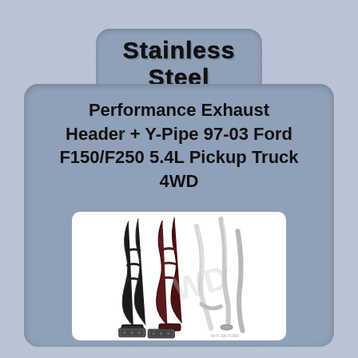Stainless Steel Custom
Performance Exhaust Header + Y-Pipe 97-03 Ford F150/F250 5.4L Pickup Truck 4WD
[Figure (photo): Product photo showing black exhaust headers and silver Y-pipe tubes along with gaskets for a Ford F150/F250 5.4L 4WD pickup truck. A watermark logo 'WD' is visible on the image.]